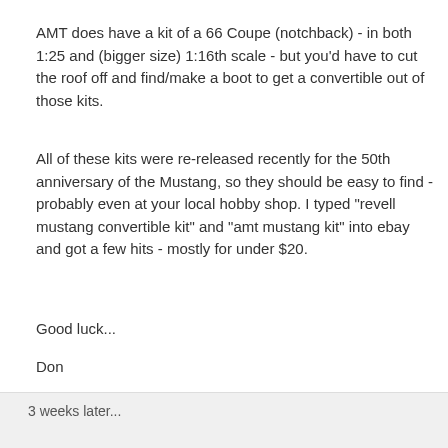AMT does have a kit of a 66 Coupe (notchback) - in both 1:25 and (bigger size) 1:16th scale - but you'd have to cut the roof off and find/make a boot to get a convertible out of those kits.
All of these kits were re-released recently for the 50th anniversary of the Mustang, so they should be easy to find - probably even at your local hobby shop. I typed "revell mustang convertible kit" and "amt mustang kit" into ebay and got a few hits - mostly for under $20.
Good luck...
Don
Edited November 25, 2016 by Schmitz
3 weeks later...